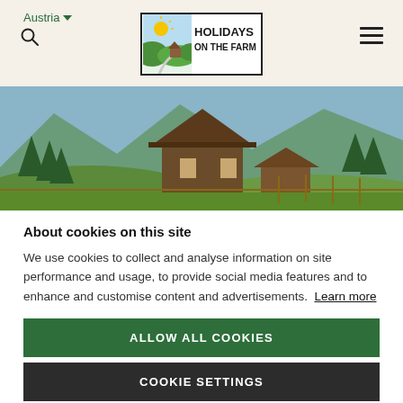Austria
[Figure (logo): Holidays on the Farm logo — illustrated farm with sun and hills inside a rectangular border]
[Figure (photo): Alpine farmhouse on a green hillside with mountains and forest in the background]
About cookies on this site
We use cookies to collect and analyse information on site performance and usage, to provide social media features and to enhance and customise content and advertisements. Learn more
ALLOW ALL COOKIES
COOKIE SETTINGS